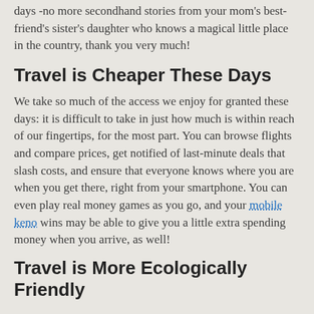days -no more secondhand stories from your mom's best-friend's sister's daughter who knows a magical little place in the country, thank you very much!
Travel is Cheaper These Days
We take so much of the access we enjoy for granted these days: it is difficult to take in just how much is within reach of our fingertips, for the most part. You can browse flights and compare prices, get notified of last-minute deals that slash costs, and ensure that everyone knows where you are when you get there, right from your smartphone. You can even play real money games as you go, and your mobile keno wins may be able to give you a little extra spending money when you arrive, as well!
Travel is More Ecologically Friendly